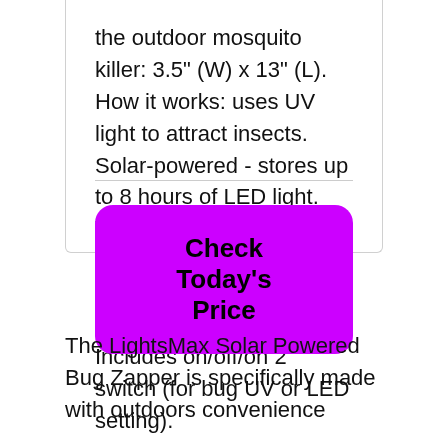the outdoor mosquito killer: 3.5" (W) x 13" (L). How it works: uses UV light to attract insects. Solar-powered - stores up to 8 hours of LED light. The mosquito UV zapper for outdoor bugs requires 1 AA Ni-Cd rechargeable battery (included). Includes on/off/on 2 switch (for bug UV or LED setting).
[Figure (other): Purple rounded rectangle button with text 'Check Today's Price']
The LightsMax Solar Powered Bug Zapper is specifically made with outdoors convenience